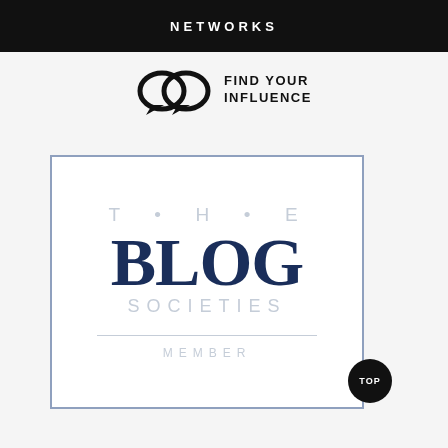NETWORKS
[Figure (logo): Find Your Influence logo — two overlapping speech bubble circles and text reading FIND YOUR INFLUENCE]
[Figure (logo): The Blog Societies Member badge — rectangular box with light blue border containing text: T•H•E BLOG SOCIETIES MEMBER]